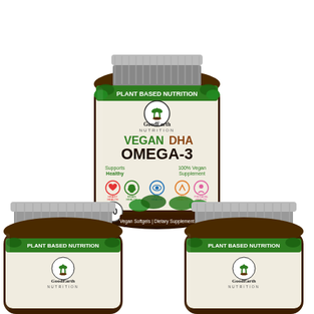[Figure (photo): Product photo of Good Earth Nutrition Vegan DHA Omega-3 supplement bottles. One large bottle in the center-top showing the full label with green plant-based nutrition banner, brand logo, product name VEGAN DHA OMEGA-3, health benefit icons (heart health, brain health, eye health, joint health, prenatal health), 60 Vegan Softgels dietary supplement. Two additional bottles shown from the top/side angle at the bottom left and bottom right, showing only caps and dark amber glass bodies.]